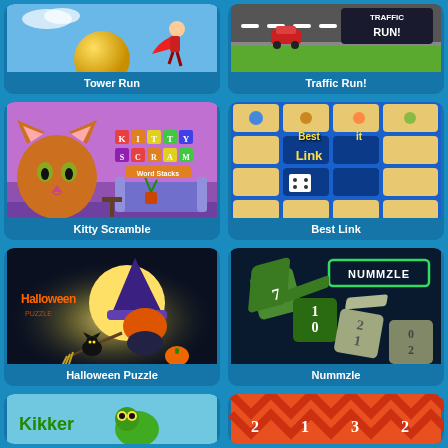[Figure (screenshot): Tower Run game card with yellow ball and superhero character on blue sky background]
Tower Run
[Figure (screenshot): Traffic Run! game card with road and traffic scene, showing TRAFFIC RUN! logo]
Traffic Run!
[Figure (screenshot): Kitty Scramble game card showing orange cat and colorful KITTY SCRAMBLE Word Stacks logo on purple background]
Kitty Scramble
[Figure (screenshot): Best Link game card showing tile matching game with Best Link logo]
Best Link
[Figure (screenshot): Halloween Puzzle game card showing witch on broomstick with black cat against moon]
Halloween Puzzle
[Figure (screenshot): Nummzle game card showing green number dice and NUMMZLE logo on dark background]
Nummzle
[Figure (screenshot): Kikker game card showing green frog logo on light blue background]
Kikker
[Figure (screenshot): Game card with zigzag colorful pattern and numbers on orange/red background]